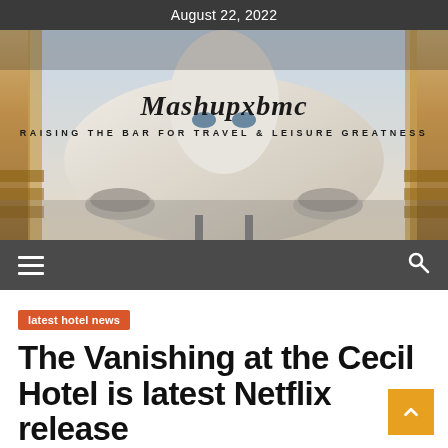August 22, 2022
[Figure (illustration): Banner image showing front of a commercial airplane with golden luggage trolleys on the sides; overlay text reads 'Mashupxbmc' in italic serif font and 'RAISING THE BAR FOR TRAVEL & LEISURE GREATNESS' in small caps below]
latest hotel news
The Vanishing at the Cecil Hotel is latest Netflix release